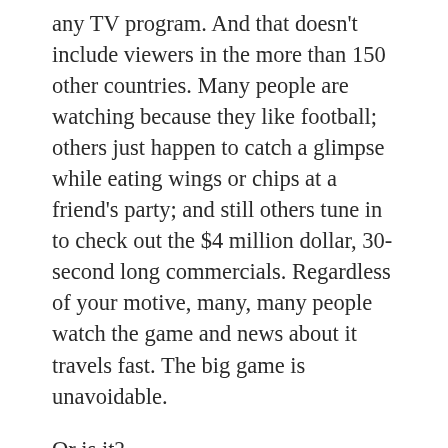any TV program. And that doesn't include viewers in the more than 150 other countries. Many people are watching because they like football; others just happen to catch a glimpse while eating wings or chips at a friend's party; and still others tune in to check out the $4 million dollar, 30-second long commercials. Regardless of your motive, many, many people watch the game and news about it travels fast. The big game is unavoidable.
Or is it?
In the late 1980s, a guy named Kyle Whelliston decided to test that out. A sports fan whose interests mostly centered on college basketball, he nonetheless skipped